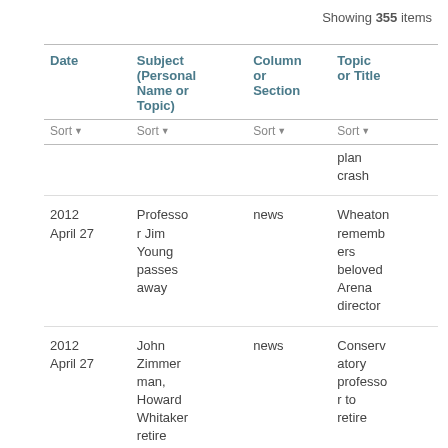Showing 355 items
| Date | Subject (Personal Name or Topic) | Column or Section | Topic or Title |
| --- | --- | --- | --- |
|  |  |  | plan crash |
| 2012 April 27 | Professor Jim Young passes away | news | Wheaton remembers beloved Arena director |
| 2012 April 27 | John Zimmerman, Howard Whitaker retire | news | Conservatory professor to retire |